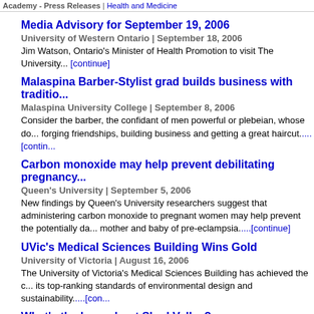Academy - Press Releases | Health and Medicine
Media Advisory for September 19, 2006
University of Western Ontario | September 18, 2006
Jim Watson, Ontario's Minister of Health Promotion to visit The University... [continue]
Malaspina Barber-Stylist grad builds business with traditio...
Malaspina University College | September 8, 2006
Consider the barber, the confidant of men powerful or plebeian, whose do... forging friendships, building business and getting a great haircut....[contin...
Carbon monoxide may help prevent debilitating pregnancy...
Queen's University | September 5, 2006
New findings by Queen's University researchers suggest that administerig carbon monoxide to pregnant women may help prevent the potentially da... mother and baby of pre-eclampsia....[continue]
UVic's Medical Sciences Building Wins Gold
University of Victoria | August 16, 2006
The University of Victoria's Medical Sciences Building has achieved the c... its top-ranking standards of environmental design and sustainability....[con...
What's the buzz about Shad Valley?
McMaster University | July 31, 2006
A bubbling of chattering voices fills the halls of the DeGroote School of Bu... of the culmination of weeks of learning and hard work. These summertime...